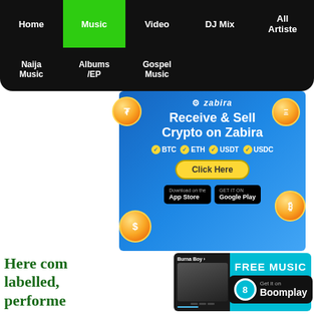Home | Music | Video | DJ Mix | All Artiste
Naija Music | Albums /EP | Gospel Music
[Figure (photo): Zabira crypto advertisement banner: Receive & Sell Crypto on Zabira. BTC ETH USDT USDC. Click Here button. App Store and Google Play badges. Gold coin decorations.]
[Figure (photo): Boomplay music app advertisement: FREE MUSIC Get it on Boomplay. Thumbnail showing Burna Boy music player screenshot.]
Here com labelled, performe